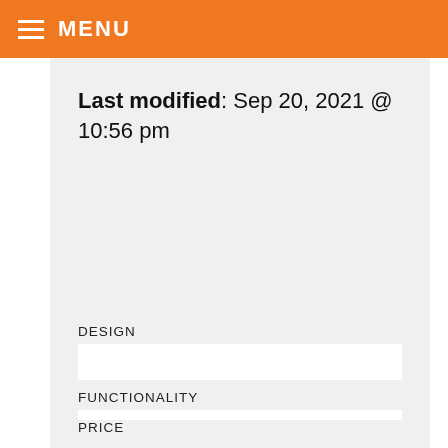MENU
Last modified: Sep 20, 2021 @ 10:56 pm
DESIGN
FUNCTIONALITY
PRICE